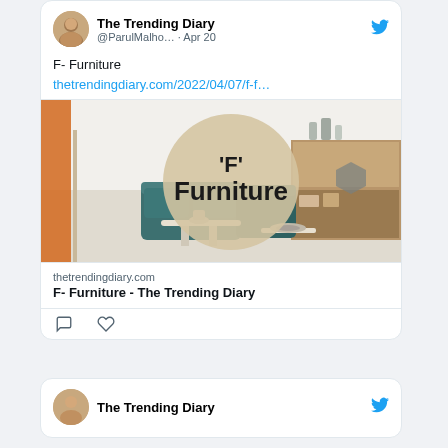[Figure (screenshot): Twitter/social media post by The Trending Diary (@ParulMalho...) dated Apr 20, showing a tweet with text 'F- Furniture', a link thetrendingdiary.com/2022/04/07/f-f..., an image of a living room with a beige circle overlay and bold text 'F' Furniture', a link preview card for thetrendingdiary.com titled 'F- Furniture - The Trending Diary', and comment/like icons. Below is a second tweet card header showing 'The Trending Diary' with Twitter bird logo.]